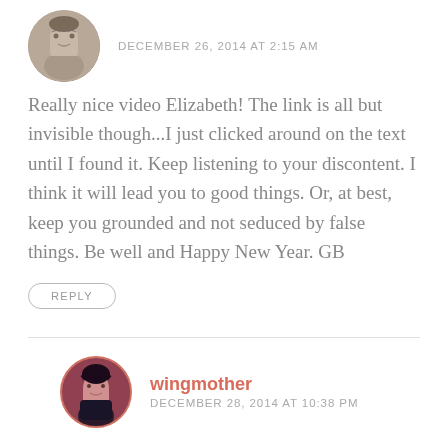DECEMBER 26, 2014 AT 2:15 AM
Really nice video Elizabeth! The link is all but invisible though...I just clicked around on the text until I found it. Keep listening to your discontent. I think it will lead you to good things. Or, at best, keep you grounded and not seduced by false things. Be well and Happy New Year. GB
REPLY
wingmother
DECEMBER 28, 2014 AT 10:38 PM
as always, my gratitude for your love and support. xo
REPLY